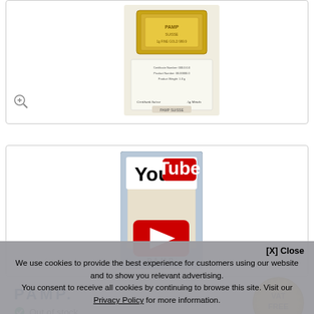[Figure (photo): PAMP gold bar product photograph in packaging with certificate, top card]
[Figure (screenshot): YouTube video thumbnail overlaid on a PAMP gold bar product image. Shows YouTube logo at top and red play button in center, PAMP branding at bottom.]
PAMP.
[Figure (logo): Gold VAT FREE seal/badge]
Out of stock
[X] Close
We use cookies to provide the best experience for customers using our website and to show you relevant advertising.
You consent to receive all cookies by continuing to browse this site. Visit our Privacy Policy for more information.